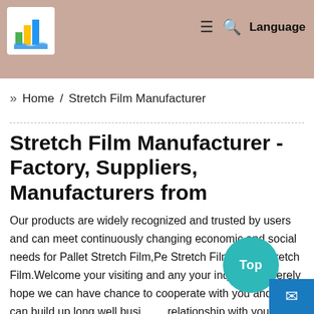[Figure (screenshot): Website header with logo (colorful bar chart building icon on white background), hamburger menu icon, search icon, and Language text on right. Background shows a blurred skin-tone photo.]
» Home / Stretch Film Manufacturer
Stretch Film Manufacturer - Factory, Suppliers, Manufacturers from
Our products are widely recognized and trusted by users and can meet continuously changing economic and social needs for Pallet Stretch Film,Pe Stretch Film,Black Stretch Film.Welcome your visiting and any your inquires,sincerely hope we can have chance to cooperate with you and we can build up long well business relationship with you. The product will supply to all over the world such as Europe, America, Australia, Cambodia ,Marseille ,M